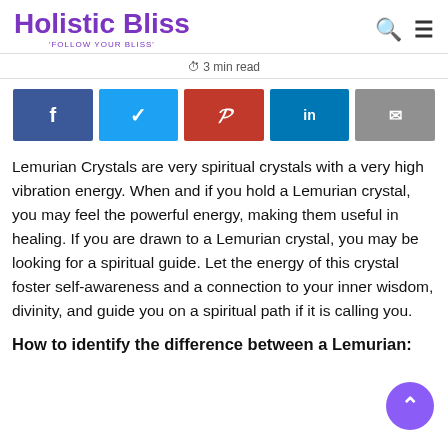Holistic Bliss — FOLLOW YOUR BLISS!
3 min read
[Figure (infographic): Social share buttons: Facebook, Twitter, Pinterest, LinkedIn, Email]
Lemurian Crystals are very spiritual crystals with a very high vibration energy. When and if you hold a Lemurian crystal, you may feel the powerful energy, making them useful in healing. If you are drawn to a Lemurian crystal, you may be looking for a spiritual guide. Let the energy of this crystal foster self-awareness and a connection to your inner wisdom, divinity, and guide you on a spiritual path if it is calling you.
How to identify the difference between a Lemurian: